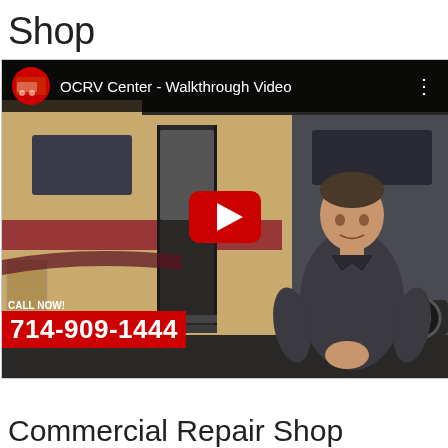Shop
[Figure (screenshot): YouTube video thumbnail showing OCRV Center - Walkthrough Video. A man in a dark jacket stands in front of a large RV motorhome inside a shop. A red YouTube play button is centered on the video. A call-to-action overlay reads 'CALL NOW! 714-909-1444' in white text on a red background at the bottom left.]
Commercial Repair Shop